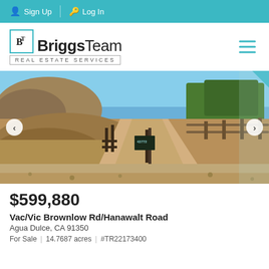Sign Up  Log In
[Figure (logo): BriggsTeam Real Estate Services logo with teal icon box containing stylized TB letters]
[Figure (photo): Dirt road with wooden fence posts and signs numbered 43772, dry brown hillside and trees in background under blue sky]
$599,880
Vac/Vic Brownlow Rd/Hanawalt Road
Agua Dulce, CA 91350
For Sale  |  14.7687 acres  |  #TR22173400